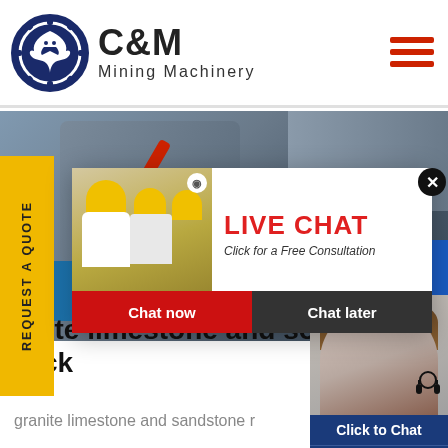[Figure (logo): C&M Mining Machinery logo with eagle in gear circle, dark blue]
[Figure (photo): Industrial mining machinery background banner with red pipe and blue equipment]
[Figure (screenshot): Live chat popup with workers in hard hats, LIVE CHAT title in red, Click for a Free Consultation, Chat now (red) and Chat later (dark) buttons]
REQUEST A QUOTE
Hours
line
[Figure (photo): Customer service agent woman with headset, smiling]
Click to Chat
Enquiry
anite limestone and so
rock
granite limestone and sandstone r